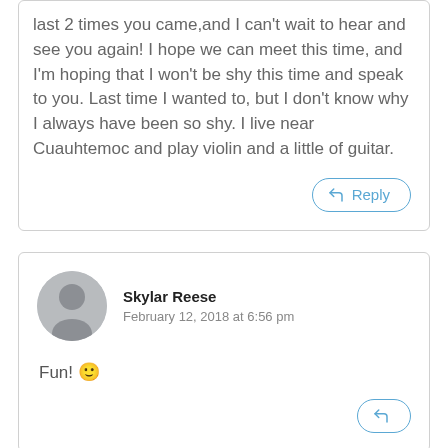last 2 times you came,and I can't wait to hear and see you again! I hope we can meet this time, and I'm hoping that I won't be shy this time and speak to you. Last time I wanted to, but I don't know why I always have been so shy. I live near Cuauhtemoc and play violin and a little of guitar.
Skylar Reese
February 12, 2018 at 6:56 pm
Fun! 🙂